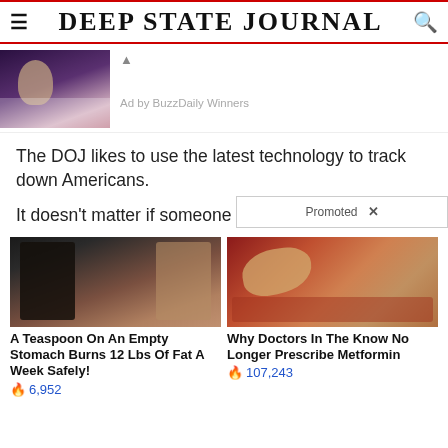DEEP STATE JOURNAL
[Figure (photo): Small thumbnail photo of a man in a casino-like setting]
Ad by BuzzDaily Winners
The DOJ likes to use the latest technology to track down Americans.
It doesn't matter if someone is suspected of anything
Promoted X
[Figure (photo): Before and after photo of a woman's back showing weight loss]
A Teaspoon On An Empty Stomach Burns 12 Lbs Of Fat A Week Safely!
6,952
[Figure (photo): Medical photo of internal organs]
Why Doctors In The Know No Longer Prescribe Metformin
107,243